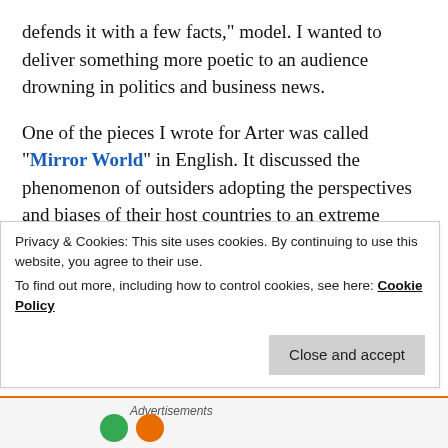defends it with a few facts," model. I wanted to deliver something more poetic to an audience drowning in politics and business news.

One of the pieces I wrote for Arter was called "Mirror World" in English. It discussed the phenomenon of outsiders adopting the perspectives and biases of their host countries to an extreme degree. I gave the example of Dean Reed, the American rock 'n' roll musician who defected to East Germany and became such a good communist that he once described the Berlin Wall as being a defensive measure against the West.
Privacy & Cookies: This site uses cookies. By continuing to use this website, you agree to their use.
To find out more, including how to control cookies, see here: Cookie Policy
Close and accept
Advertisements